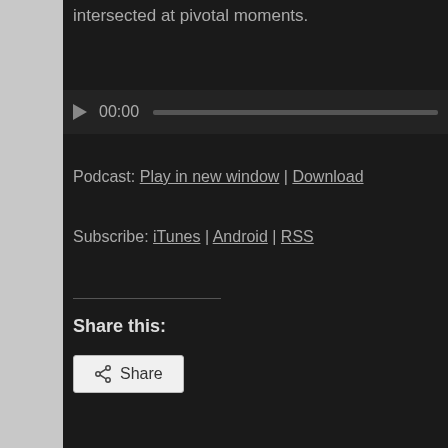intersected at pivotal moments.
[Figure (screenshot): Audio player with play button, 00:00 timestamp, and progress bar]
Podcast: Play in new window | Download
Subscribe: iTunes | Android | RSS
Share this:
[Figure (screenshot): Share button with share icon]
Posted by shanecosby on January 4, 2016
Episode 17 – Billy Chumbler – A St… an Outstanding Coaching Career –
Posted in: Basketball, Character, Coaching, Development, High School, High School, KHSAA, Michael Jordan, PTHS.